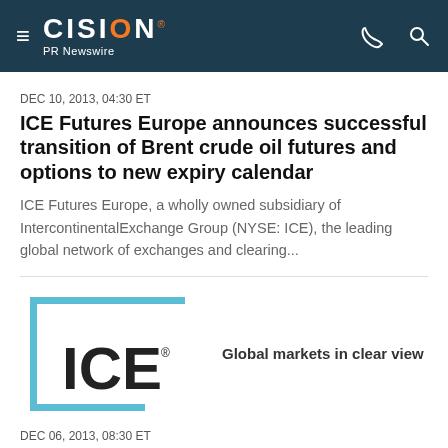CISION PR Newswire
DEC 10, 2013, 04:30 ET
ICE Futures Europe announces successful transition of Brent crude oil futures and options to new expiry calendar
ICE Futures Europe, a wholly owned subsidiary of IntercontinentalExchange Group (NYSE: ICE), the leading global network of exchanges and clearing...
[Figure (logo): ICE logo with a light-blue square bracket frame on the left, bold 'ICE' text with registered trademark symbol, and tagline 'Global markets in clear view']
DEC 06, 2013, 08:30 ET
IntercontinentalExchange Chairman and CEO